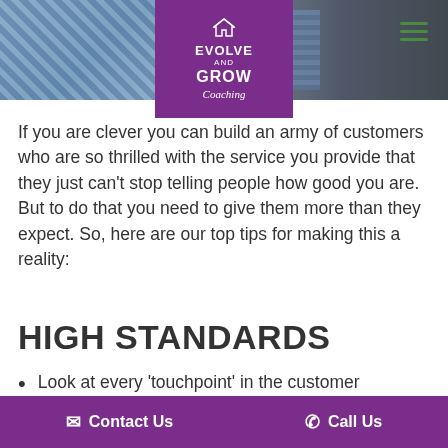[Figure (photo): Header photo showing person in checkered/plaid clothing, partially obscured by logo overlay]
[Figure (logo): Evolve and Grow Coaching logo in purple square with house icon]
If you are clever you can build an army of customers who are so thrilled with the service you provide that they just can't stop telling people how good you are. But to do that you need to give them more than they expect. So, here are our top tips for making this a reality:
HIGH STANDARDS
Look at every ‘touchpoint’ in the customer experience and put yourself in the customer's
Contact Us   Call Us